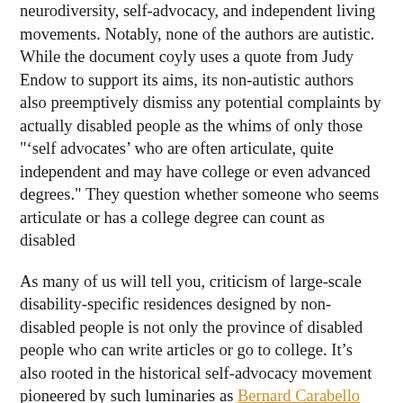neurodiversity, self-advocacy, and independent living movements. Notably, none of the authors are autistic. While the document coyly uses a quote from Judy Endow to support its aims, its non-autistic authors also preemptively dismiss any potential complaints by actually disabled people as the whims of only those "'self advocates' who are often articulate, quite independent and may have college or even advanced degrees." They question whether someone who seems articulate or has a college degree can count as disabled
As many of us will tell you, criticism of large-scale disability-specific residences designed by non-disabled people is not only the province of disabled people who can write articles or go to college. It's also rooted in the historical self-advocacy movement pioneered by such luminaries as Bernard Carabello who survived 18 years in Willowbrook. That self-advocacy movement continues to be led primarily by and for people with intellectual disabilities, who can perfectly well speak for themselves even and maybe especially when non-disabled people